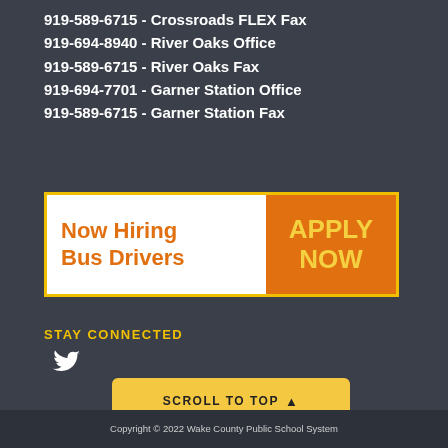919-589-6715 - Crossroads FLEX Fax
919-694-8940 - River Oaks Office
919-589-6715 - River Oaks Fax
919-694-7701 - Garner Station Office
919-589-6715 - Garner Station Fax
[Figure (infographic): Now Hiring Bus Drivers - APPLY NOW banner with orange and white sections and yellow border]
STAY CONNECTED
[Figure (logo): Twitter bird icon]
SCROLL TO TOP ↑
Copyright © 2022 Wake County Public School System